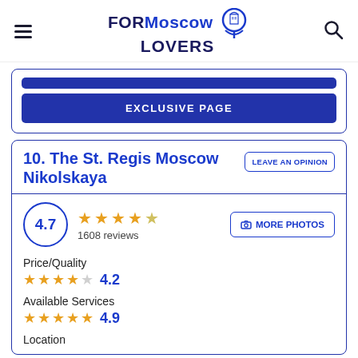FORMoscow LOVERS
[Figure (logo): FORMoscow Lovers logo with map pin icon]
EXCLUSIVE PAGE
10. The St. Regis Moscow Nikolskaya
LEAVE AN OPINION
4.7 — 1608 reviews
MORE PHOTOS
Price/Quality — 4.2
Available Services — 4.9
Location